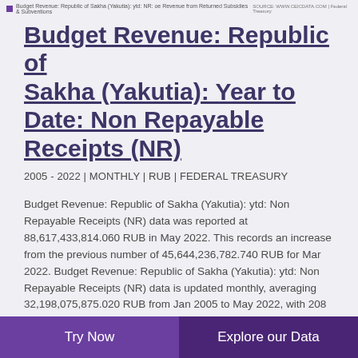Budget Revenue: Republic of Sakha (Yakutia): ytd: NR: oe Revenue from Returned Subsidies & Subventions SOURCE: WWW.CEICDATA.COM | Federal Treasury
Budget Revenue: Republic of Sakha (Yakutia): Year to Date: Non Repayable Receipts (NR)
2005 - 2022 | MONTHLY | RUB | FEDERAL TREASURY
Budget Revenue: Republic of Sakha (Yakutia): ytd: Non Repayable Receipts (NR) data was reported at 88,617,433,814.060 RUB in May 2022. This records an increase from the previous number of 45,644,236,782.740 RUB for Mar 2022. Budget Revenue: Republic of Sakha (Yakutia): ytd: Non Repayable Receipts (NR) data is updated monthly, averaging 32,198,075,875.020 RUB from Jan 2005 to May 2022, with 208 observations. The data reached an all-time high
Try Now | Explore our Data